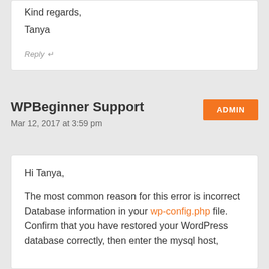Kind regards,
Tanya
Reply ↵
WPBeginner Support
Mar 12, 2017 at 3:59 pm
ADMIN
Hi Tanya,
The most common reason for this error is incorrect Database information in your wp-config.php file. Confirm that you have restored your WordPress database correctly, then enter the mysql host,